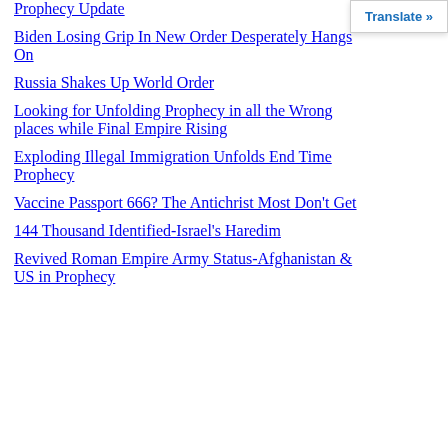Prophecy Update
Biden Losing Grip In New Order Desperately Hangs On
Russia Shakes Up World Order
Looking for Unfolding Prophecy in all the Wrong places while Final Empire Rising
Exploding Illegal Immigration Unfolds End Time Prophecy
Vaccine Passport 666? The Antichrist Most Don't Get
144 Thousand Identified-Israel's Haredim
Revived Roman Empire Army Status-Afghanistan & US in Prophecy